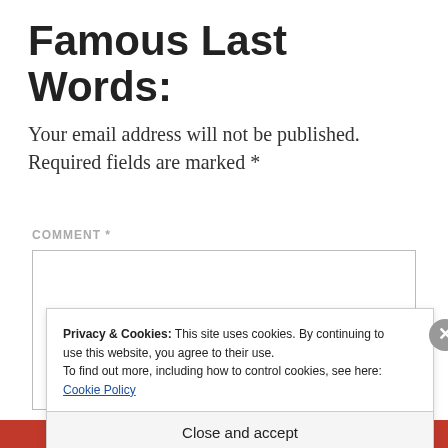Famous Last Words:
Your email address will not be published. Required fields are marked *
COMMENT *
[Figure (screenshot): Empty comment text area input box with grey border]
Privacy & Cookies: This site uses cookies. By continuing to use this website, you agree to their use.
To find out more, including how to control cookies, see here: Cookie Policy
Close and accept